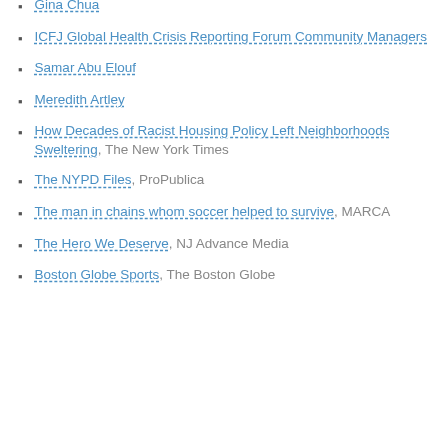Gina Chua
ICFJ Global Health Crisis Reporting Forum Community Managers
Samar Abu Elouf
Meredith Artley
How Decades of Racist Housing Policy Left Neighborhoods Sweltering, The New York Times
The NYPD Files, ProPublica
The man in chains whom soccer helped to survive, MARCA
The Hero We Deserve, NJ Advance Media
Boston Globe Sports, The Boston Globe